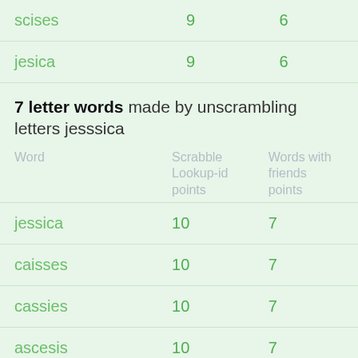| Word | Scrabble Lookup-id points | Words with friends points |
| --- | --- | --- |
| scises | 9 | 6 |
| jesica | 9 | 6 |
7 letter words made by unscrambling letters jesssica
| Word | Scrabble Lookup-id points | Words with friends points |
| --- | --- | --- |
| jessica | 10 | 7 |
| caisses | 10 | 7 |
| cassies | 10 | 7 |
| ascesis | 10 | 7 |